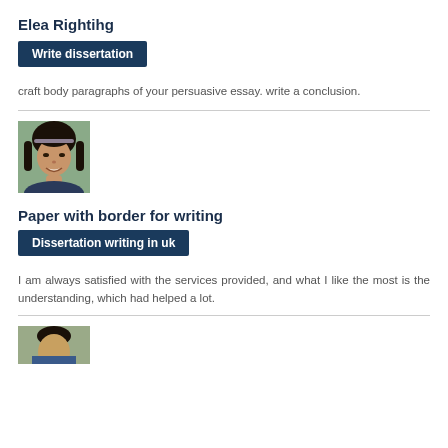Elea Rightihg
Write dissertation
craft body paragraphs of your persuasive essay. write a conclusion.
[Figure (photo): Portrait photo of a woman smiling, dark hair with a decorative headband, outdoor background]
Paper with border for writing
Dissertation writing in uk
I am always satisfied with the services provided, and what I like the most is the understanding, which had helped a lot.
[Figure (photo): Partial portrait photo of a person, cropped at bottom of page]